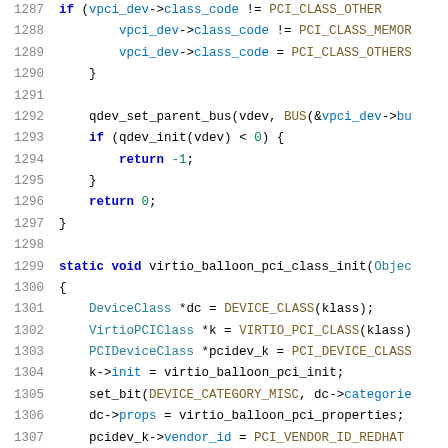[Figure (screenshot): Source code listing (C language) showing lines 1287-1307 of a virtio balloon PCI driver. Lines include conditionals on vpci_dev->class_code, qdev_set_parent_bus, qdev_init, return statements, closing braces, and the beginning of virtio_balloon_pci_class_init function with DeviceClass, VirtioPCIClass, PCIDeviceClass declarations and field assignments.]